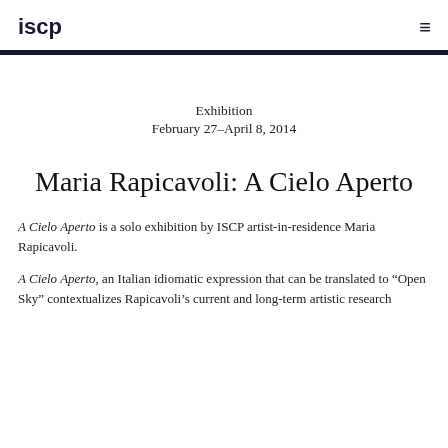iscp
Exhibition
February 27–April 8, 2014
Maria Rapicavoli: A Cielo Aperto
A Cielo Aperto is a solo exhibition by ISCP artist-in-residence Maria Rapicavoli.
A Cielo Aperto, an Italian idiomatic expression that can be translated to "Open Sky" contextualizes Rapicavoli's current and long-term artistic research